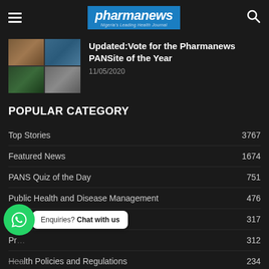pharmanews — Nigeria's Leading Health Journal
Updated:Vote for the Pharmanews PANSite of the Year
11/05/2020
POPULAR CATEGORY
Top Stories 3767
Featured News 1674
PANS Quiz of the Day 751
Public Health and Disease Management 476
Industry News 317
Pr... 312
Health Policies and Regulations 234
Food and Nutrition 233